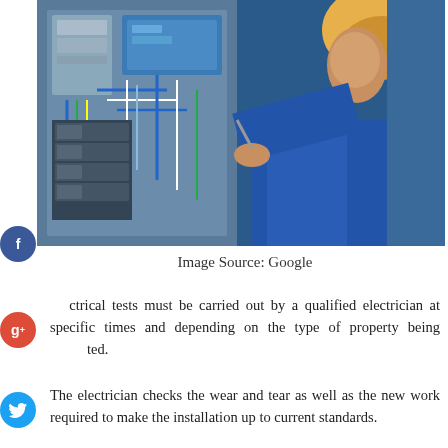[Figure (photo): An electrician wearing a yellow hard hat and blue shirt working on an electrical panel/fuse box with multiple wires and cables]
Image Source: Google
Electrical tests must be carried out by a qualified electrician at specific times and depending on the type of property being tested.
The electrician checks the wear and tear as well as the new work required to make the installation up to current standards.